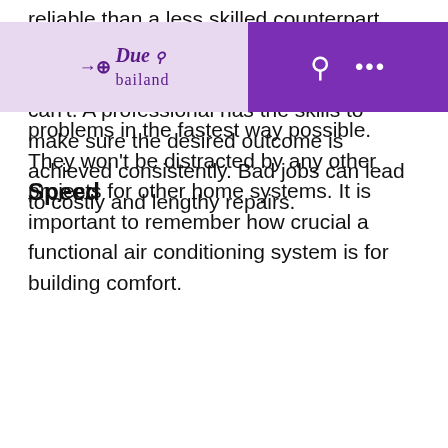reliable than a less skilled counterpart. P... n tackle a wide range c... blems in a way that o... can't. A professional has the skills to make sure the desired outcome is achieved consistently. Bad jobs can lead to costly and lengthy repairs.
[Figure (logo): Navigation bar with purple logo area showing 'bailand' branding with arrow icon on left, and purple action bar on right with search icon and ellipsis menu]
Speed
An air conditioning professional can do the job quicker than you. Their experience and expertise allow them to solve problems in the fastest way possible. They won't be distracted by any other projects for other home systems. It is important to remember how crucial a functional air conditioning system is for building comfort.
Guarantee